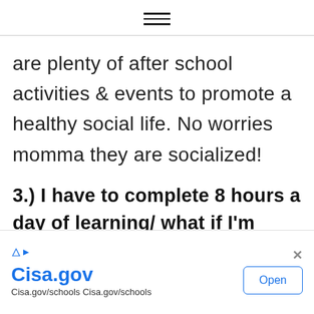[Figure (other): Hamburger menu icon with three horizontal lines]
are plenty of after school activities & events to promote a healthy social life. No worries momma they are socialized!
3.) I have to complete 8 hours a day of learning/ what if I'm not doing enough?
[Figure (other): Advertisement banner: Cisa.gov / Cisa.gov/schools with Open button]